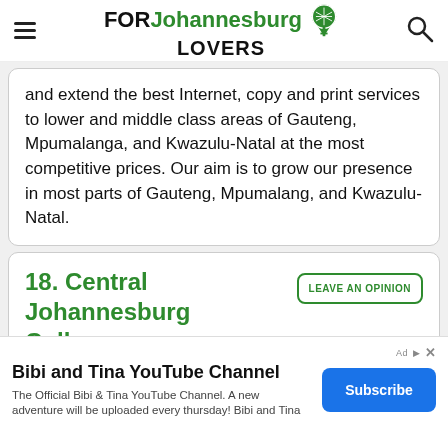FOR Johannesburg LOVERS
and extend the best Internet, copy and print services to lower and middle class areas of Gauteng, Mpumalanga, and Kwazulu-Natal at the most competitive prices. Our aim is to grow our presence in most parts of Gauteng, Mpumalang, and Kwazulu-Natal.
18. Central Johannesburg College
LEAVE AN OPINION
[Figure (screenshot): Advertisement banner: Bibi and Tina YouTube Channel with Subscribe button]